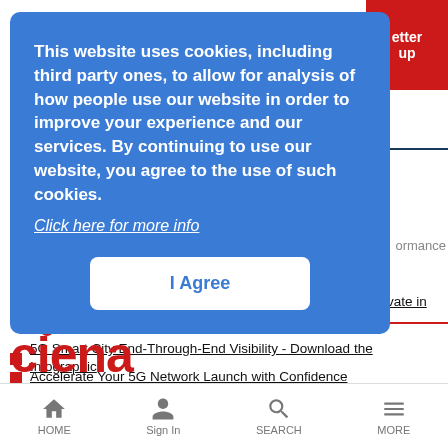[Figure (screenshot): Cookie consent modal overlay on a website (blue background) with text about cookies, a 'Click here for more info' link, and an 'I Agree' button. Behind the modal is a partially visible webpage with a red button top-right, navigation items, list items about wireless network content, a Ciena logo, and a bottom navigation bar.]
This website uses cookies, including third party ones, to allow for analysis of how people use our website in order to improve your experience and our services. By continuing to use our website, you agree to the use of such cookies.
Click here for more info
I Agree
Download the White Paper: Why Visibility is Needed to Innovate in Your Wireless Network
5G Smart City End-Through-End Visibility - Download the Infographic
Accelerate Your 5G Network Launch with Confidence
[Figure (logo): Ciena logo in red text at bottom left]
HOME | Sign In | SEARCH | MORE